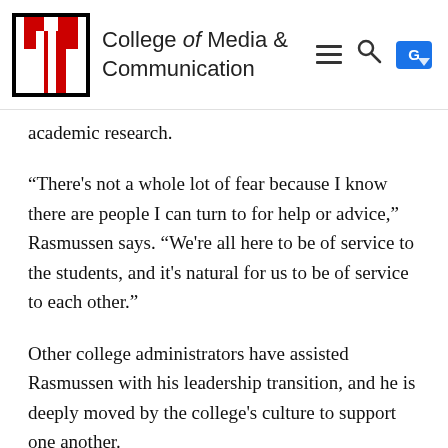College of Media & Communication
academic research.
“There's not a whole lot of fear because I know there are people I can turn to for help or advice,” Rasmussen says. “We're all here to be of service to the students, and it's natural for us to be of service to each other.”
Other college administrators have assisted Rasmussen with his leadership transition, and he is deeply moved by the college's culture to support one another.
“All the other chairs have been so helpful,” Rasmussen says. “They've all reached out to see if